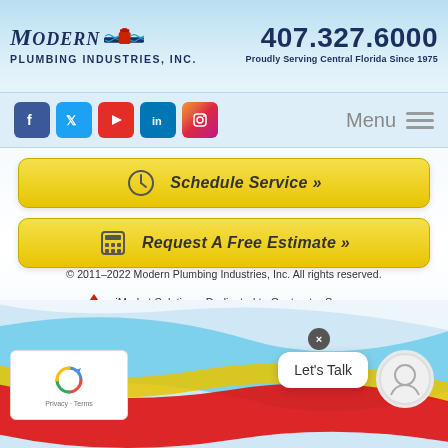[Figure (logo): Modern Plumbing Industries, Inc. logo with pipe/valve graphic]
407.327.6000
Proudly Serving Central Florida Since 1975
[Figure (infographic): Social media icons: Facebook, Twitter, YouTube, LinkedIn, Instagram, and Menu button]
Menu
Schedule Service »
Request A Free Estimate »
© 2011–2022 Modern Plumbing Industries, Inc. All rights reserved.
iMarket Solutions: Dedicated to Contractor Success
Let's Talk
Privacy · Terms